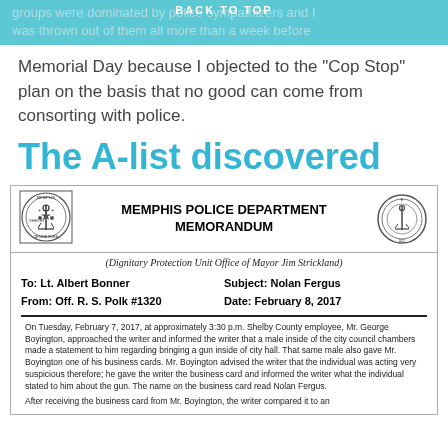groups were dominated by police sympathizers and I was thrown out of them all more than a week before
BACK TO TOP
Memorial Day because I objected to the “Cop Stop” plan on the basis that no good can come from consorting with police.
The A-list discovered
[Figure (other): Memphis Police Department Memorandum with two logos. Left logo: Memphis Police Department seal. Right logo: circular badge. Subtitle: (Dignitary Protection Unit Office of Mayor Jim Strickland). To: Lt. Albert Bonner, From: Off. R. S. Polk #1320, Subject: Nolan Fergus, Date: February 8, 2017. Body text describing incident on Tuesday, February 7, 2017.]